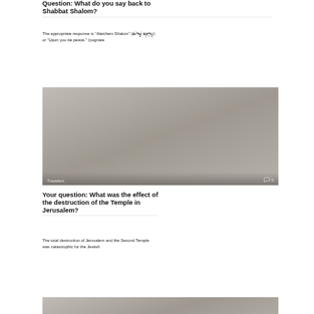Question: What do you say back to Shabbat Shalom?
The appropriate response is "Aleichem Shalom" (עֲלֵיכֶם שָׁלוֹם) or "Upon you be peace." (cognate
[Figure (photo): Gray image with overlay showing 'Travelers' label on bottom left and comment icon with '0' on bottom right]
Your question: What was the effect of the destruction of the Temple in Jerusalem?
The total destruction of Jerusalem and the Second Temple was catastrophic for the Jewish
[Figure (photo): Partial gray image at bottom of page]